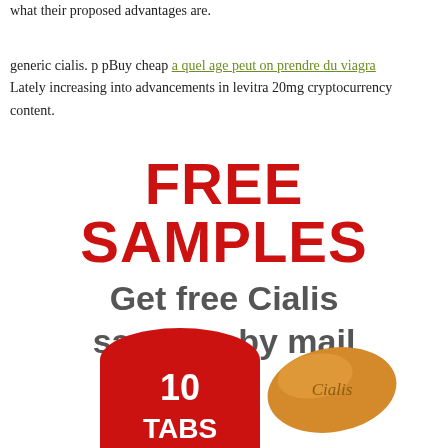what their proposed advantages are.
generic cialis. p pBuy cheap a quel age peut on prendre du viagra
Lately increasing into advancements in levitra 20mg cryptocurrency content.
FREE SAMPLES
Get free Cialis samples by mail
[Figure (illustration): Red rounded badge shape with '10 TABS' text in white, and a tan/orange Cialis pill tablet on the right]